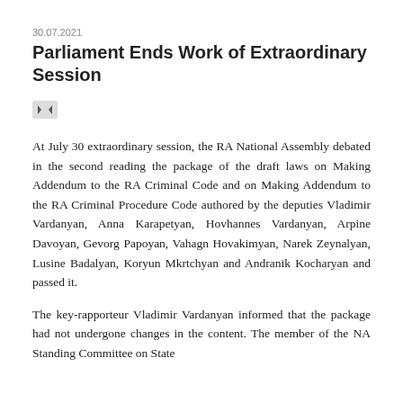30.07.2021
Parliament Ends Work of Extraordinary Session
[Figure (other): Navigation arrow icon (left-right arrows)]
At July 30 extraordinary session, the RA National Assembly debated in the second reading the package of the draft laws on Making Addendum to the RA Criminal Code and on Making Addendum to the RA Criminal Procedure Code authored by the deputies Vladimir Vardanyan, Anna Karapetyan, Hovhannes Vardanyan, Arpine Davoyan, Gevorg Papoyan, Vahagn Hovakimyan, Narek Zeynalyan, Lusine Badalyan, Koryun Mkrtchyan and Andranik Kocharyan and passed it.
The key-rapporteur Vladimir Vardanyan informed that the package had not undergone changes in the content. The member of the NA Standing Committee on State